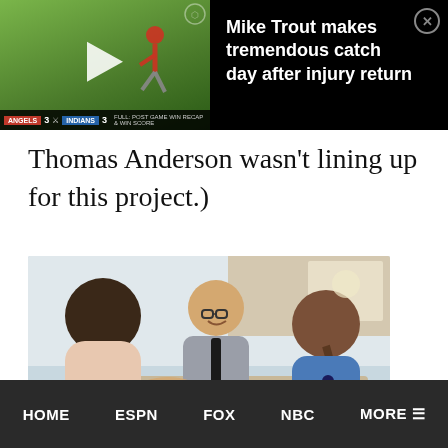[Figure (screenshot): Video thumbnail showing a baseball player on a green field with a play button overlay and a scoreboard at the bottom showing score 3-3, alongside a black panel with the headline 'Mike Trout makes tremendous catch day after injury return' and a close button]
Thomas Anderson wasn't lining up for this project.)
[Figure (photo): Photo of a business meeting scene with a man in a grey suit wearing glasses smiling and shaking hands with a woman, another woman seen from behind on the right]
HOME    ESPN    FOX    NBC    MORE ☰